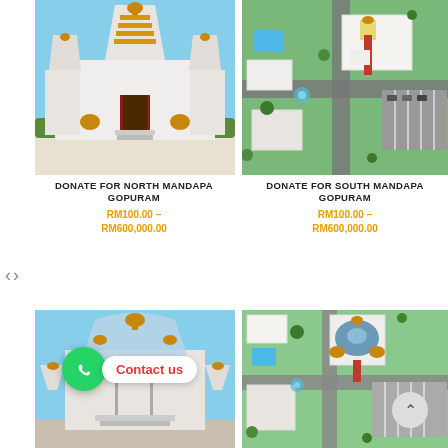[Figure (photo): Architectural rendering of a Hindu temple with golden gopuram towers and white structure, front view - North Mandapa Gopuram]
[Figure (photo): Aerial architectural rendering of a Hindu temple complex with white buildings, green landscaping and parking - South Mandapa Gopuram]
DONATE FOR NORTH MANDAPA GOPURAM
RM100.00 – RM600,000.00
DONATE FOR SOUTH MANDAPA GOPURAM
RM100.00 – RM600,000.00
[Figure (photo): Architectural rendering of Hindu temple with golden gopuram towers, blue sky background]
[Figure (photo): Aerial architectural rendering of Hindu temple complex with blue dome structures and green landscaping]